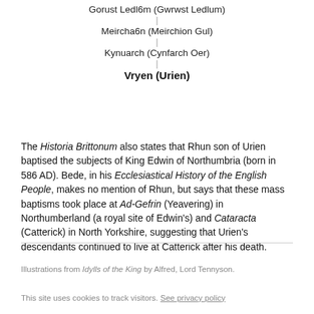[Figure (organizational-chart): Vertical genealogy chart: Gorust Ledl6m (Gwrwst Ledlum) → Meircha6n (Meirchion Gul) → Kynuarch (Cynfarch Oer) → Vryen (Urien) (bold)]
The Historia Brittonum also states that Rhun son of Urien baptised the subjects of King Edwin of Northumbria (born in 586 AD). Bede, in his Ecclesiastical History of the English People, makes no mention of Rhun, but says that these mass baptisms took place at Ad-Gefrin (Yeavering) in Northumberland (a royal site of Edwin's) and Cataracta (Catterick) in North Yorkshire, suggesting that Urien's descendants continued to live at Catterick after his death.
Illustrations from Idylls of the King by Alfred, Lord Tennyson.
This site uses cookies to track visitors. See privacy policy